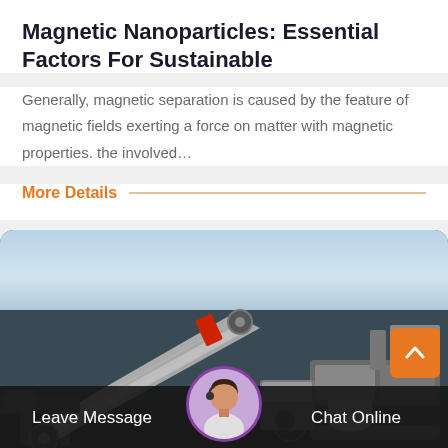Magnetic Nanoparticles: Essential Factors For Sustainable
Generally, magnetic separation is caused by the feature of magnetic fields exerting a force on matter with magnetic properties. the involved…
More Details
[Figure (photo): Industrial mining/crushing machinery with conveyor belts and processing equipment photographed outdoors against a partly cloudy sky, with a customer service chat interface overlay at the bottom showing an avatar, Leave Message and Chat Online buttons, and an orange scroll-to-top button.]